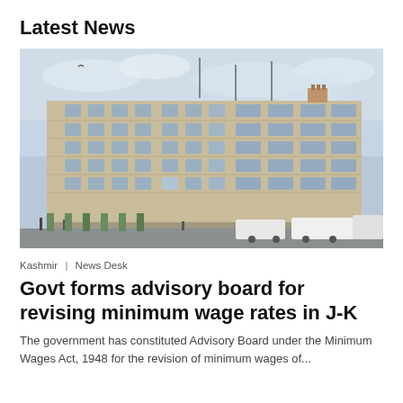Latest News
[Figure (photo): Exterior photograph of a large multi-storey government building with many windows, taken from street level. The building appears to be the Civil Secretariat in Jammu & Kashmir. Vehicles and people are visible at street level, with a cloudy sky in the background.]
Kashmir | News Desk
Govt forms advisory board for revising minimum wage rates in J-K
The government has constituted Advisory Board under the Minimum Wages Act, 1948 for the revision of minimum wages of...